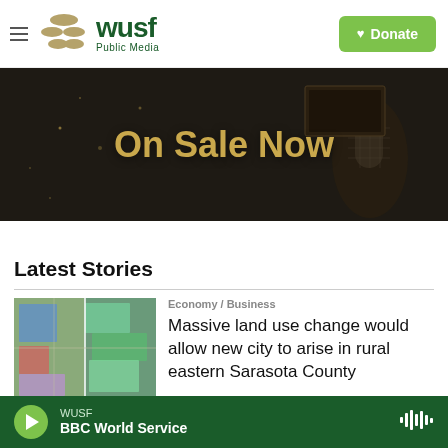WUSF Public Media | Donate
[Figure (photo): Dark advertisement banner with text 'On Sale Now' in gold letters and a microphone in the background]
Latest Stories
[Figure (photo): Aerial map image showing land use zones in different colors (blue, green, red, purple) in Sarasota County]
Economy / Business
Massive land use change would allow new city to arise in rural eastern Sarasota County
WUSF | BBC World Service